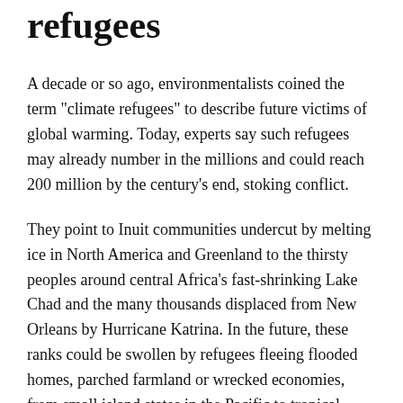refugees
A decade or so ago, environmentalists coined the term "climate refugees" to describe future victims of global warming. Today, experts say such refugees may already number in the millions and could reach 200 million by the century's end, stoking conflict.
They point to Inuit communities undercut by melting ice in North America and Greenland to the thirsty peoples around central Africa's fast-shrinking Lake Chad and the many thousands displaced from New Orleans by Hurricane Katrina. In the future, these ranks could be swollen by refugees fleeing flooded homes, parched farmland or wrecked economies, from small island states in the Pacific to tropical Africa and the Mediterranean rim.
"The issue of environmental refugees promises to rank as